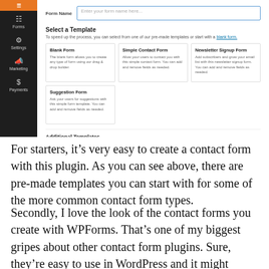[Figure (screenshot): WordPress admin panel showing WPForms plugin interface with form name field and template selection options including Blank Form, Simple Contact Form, Newsletter Signup Form, and Suggestion Form, plus Additional Templates section.]
For starters, it’s very easy to create a contact form with this plugin. As you can see above, there are pre-made templates you can start with for some of the more common contact form types.
Secondly, I love the look of the contact forms you create with WPForms. That’s one of my biggest gripes about other contact form plugins. Sure, they’re easy to use in WordPress and it might